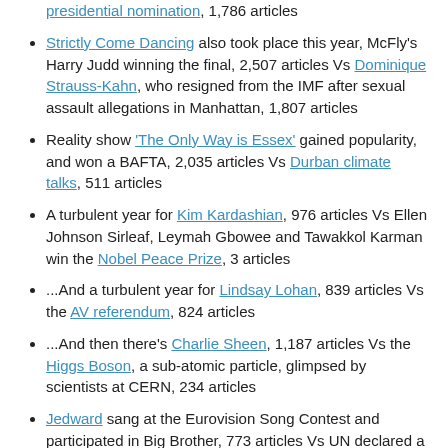presidential nomination, 1,786 articles
Strictly Come Dancing also took place this year, McFly's Harry Judd winning the final, 2,507 articles Vs Dominique Strauss-Kahn, who resigned from the IMF after sexual assault allegations in Manhattan, 1,807 articles
Reality show 'The Only Way is Essex' gained popularity, and won a BAFTA, 2,035 articles Vs Durban climate talks, 511 articles
A turbulent year for Kim Kardashian, 976 articles Vs Ellen Johnson Sirleaf, Leymah Gbowee and Tawakkol Karman win the Nobel Peace Prize, 3 articles
...And a turbulent year for Lindsay Lohan, 839 articles Vs the AV referendum, 824 articles
...And then there's Charlie Sheen, 1,187 articles Vs the Higgs Boson, a sub-atomic particle, glimpsed by scientists at CERN, 234 articles
Jedward sang at the Eurovision Song Contest and participated in Big Brother, 773 articles Vs UN declared a famine in East Africa, 411 articles